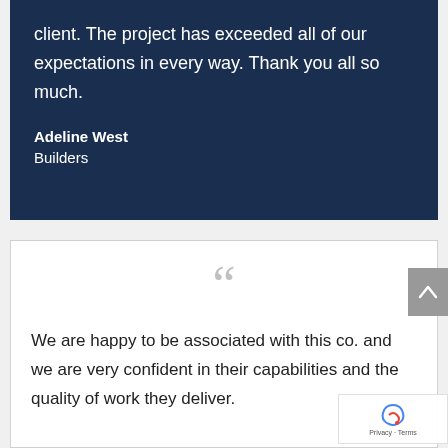client. The project has exceeded all of our expectations in every way. Thank you all so much.
Adeline West
Builders
We are happy to be associated with this co. and we are very confident in their capabilities and the quality of work they deliver.